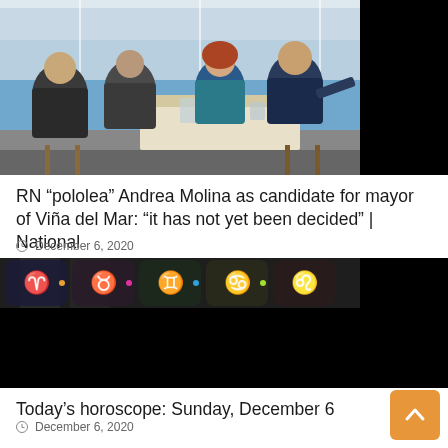[Figure (photo): Four people seated around a table at a seaside restaurant, with ocean view in background. A woman with red hair and teal top is among them. Black panel on the right side.]
RN “pololea” Andrea Molina as candidate for mayor of Viña del Mar: “it has not yet been decided” | National
December 6, 2020
[Figure (photo): Horoscope image showing zodiac signs (Aries, Taurus, Gemini, Cancer, Leo) on a decorative dark background with geometric patterns and colorful accents. Lower portion is blacked out.]
Today’s horoscope: Sunday, December 6
December 6, 2020